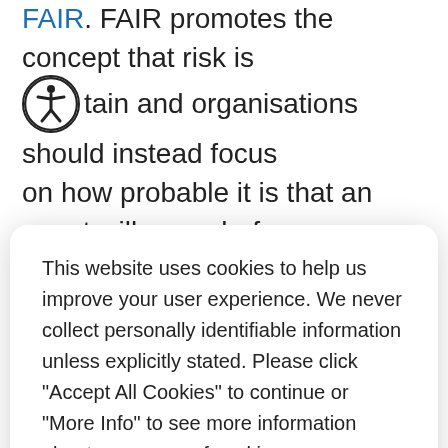FAIR. FAIR promotes the concept that risk is certain and organisations should instead focus on how probable it is that an event will occur before moving to decis...
This website uses cookies to help us improve your user experience. We never collect personally identifiable information unless explicitly stated. Please click "Accept All Cookies" to continue or "More Info" to see more information about our usage of cookies.
More Info
Accept All Cookies